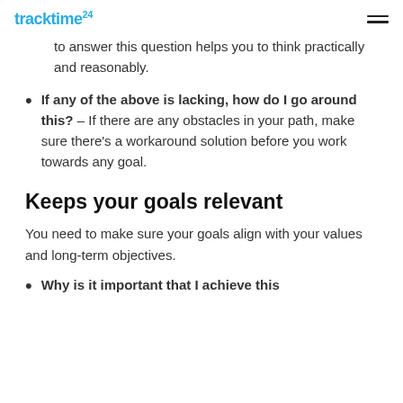tracktime24
to answer this question helps you to think practically and reasonably.
If any of the above is lacking, how do I go around this? – If there are any obstacles in your path, make sure there's a workaround solution before you work towards any goal.
Keeps your goals relevant
You need to make sure your goals align with your values and long-term objectives.
Why is it important that I achieve this